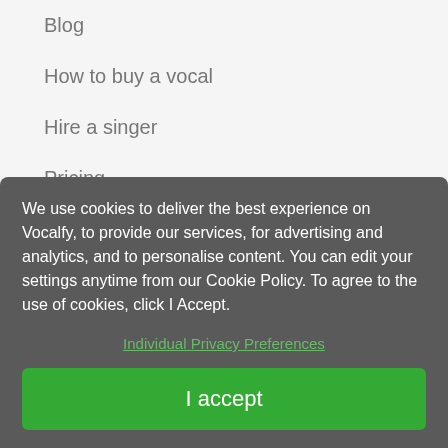Blog
How to buy a vocal
Hire a singer
Pricing
Contact support
SINGERS
We use cookies to deliver the best experience on Vocalfy, to provide our services, for advertising and analytics, and to personalise content. You can edit your settings anytime from our Cookie Policy. To agree to the use of cookies, click I Accept.
Individual Privacy Preferences
I accept